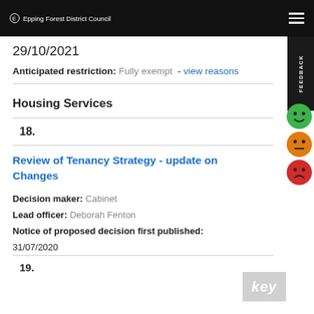Epping Forest District Council
29/10/2021
Anticipated restriction: Fully exempt - view reasons
Housing Services
18.
Review of Tenancy Strategy - update on Changes
Decision maker: Cabinet
Lead officer: Deborah Fenton
Notice of proposed decision first published: 31/07/2020
19.